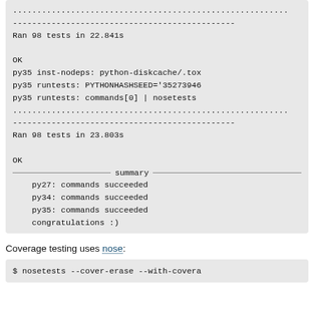......................................................
----------------------------------------------
Ran 98 tests in 22.841s

OK
py35 inst-nodeps: python-diskcache/.tox
py35 runtests: PYTHONHASHSEED='35273946
py35 runtests: commands[0] | nosetests
......................................................
----------------------------------------------
Ran 98 tests in 23.803s

OK
_________________________ summary __________
    py27: commands succeeded
    py34: commands succeeded
    py35: commands succeeded
    congratulations :)
Coverage testing uses nose:
$ nosetests --cover-erase --with-covera